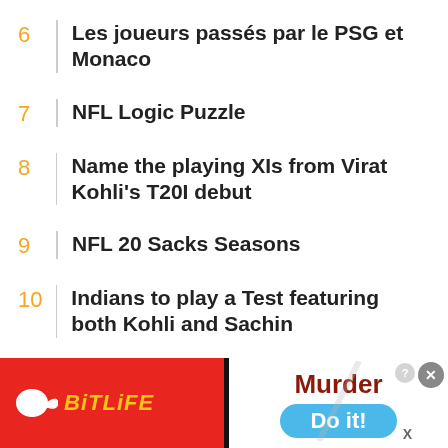6 | Les joueurs passés par le PSG et Monaco
7 | NFL Logic Puzzle
8 | Name the playing XIs from Virat Kohli's T20I debut
9 | NFL 20 Sacks Seasons
10 | Indians to play a Test featuring both Kohli and Sachin
Explore More >
More By: Cestrian
[Figure (screenshot): Advertisement banner for BitLife game showing red background with sperm logo and 'Murder Do it!' text]